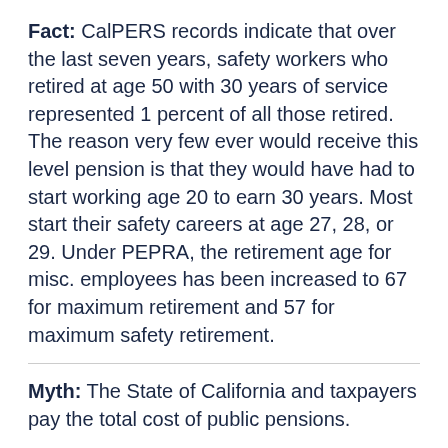Fact: CalPERS records indicate that over the last seven years, safety workers who retired at age 50 with 30 years of service represented 1 percent of all those retired. The reason very few ever would receive this level pension is that they would have had to start working age 20 to earn 30 years. Most start their safety careers at age 27, 28, or 29. Under PEPRA, the retirement age for misc. employees has been increased to 67 for maximum retirement and 57 for maximum safety retirement.
Myth: The State of California and taxpayers pay the total cost of public pensions.
Fact: State government workers contribute to their pensions with every paycheck, typically between 8 and 12 percent of their monthly earnings. Meanwhile, CalPERS investments now pay 64